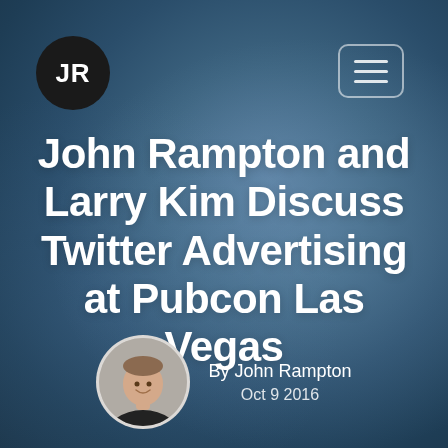JR
John Rampton and Larry Kim Discuss Twitter Advertising at Pubcon Las Vegas
By John Rampton
Oct 9 2016